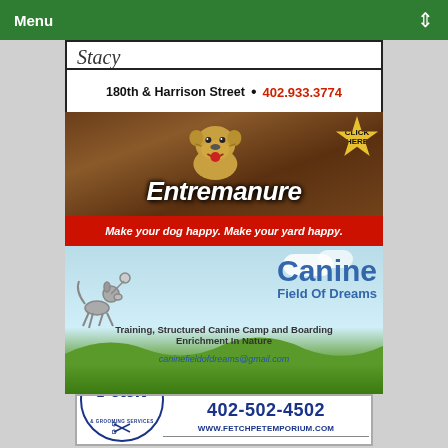Menu
180th & Harrison Street • 402.933.3774
[Figure (illustration): Entremanure advertisement with bulldog mascot, brown background, 'CLICK HERE' starburst, large italic white text 'Entremanure', and red tagline bar 'Make your dog happy. Make your yard happy.']
[Figure (illustration): Canine Field of Dreams advertisement with sky blue background, green grass hills, jumping dog silhouette, blue text 'Canine Field Of Dreams', tagline 'Training, Structured Canine Camp and Boarding Enrichment In Nature', email 'caninefieldofdreams@gmail.com']
[Figure (illustration): Fetch Premium Pet Supplies & Grooming Services ad with circular logo, phone 402-502-4502, website WWW.FETCHPETEMPORIUM.COM, tagline 'ALL OF YOUR PET SUPPLY AND GROOMING NEEDS, CLOSE TO HOME!']